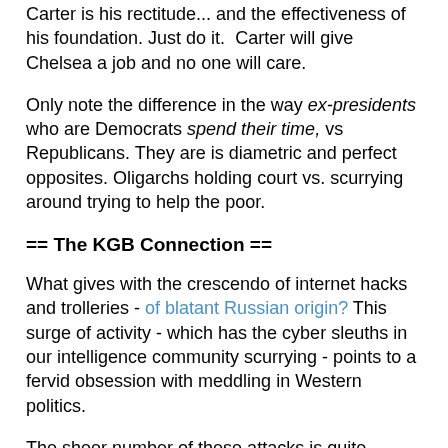Carter is his rectitude... and the effectiveness of his foundation. Just do it. Carter will give Chelsea a job and no one will care.
Only note the difference in the way ex-presidents who are Democrats spend their time, vs Republicans. They are is diametric and perfect opposites. Oligarchs holding court vs. scurrying around trying to help the poor.
== The KGB Connection ==
What gives with the crescendo of internet hacks and trolleries - of blatant Russian origin? This surge of activity - which has the cyber sleuths in our intelligence community scurrying - points to a fervid obsession with meddling in Western politics.
The sheer number of these attacks is quite boggling. They range from stealing and clumsily altering documents of George Soros's Open Society Foundation to spreading anti-NATO rumors in Sweden to timing leaks of swiped Hillary Clinton emails for maximum effect on American elections.